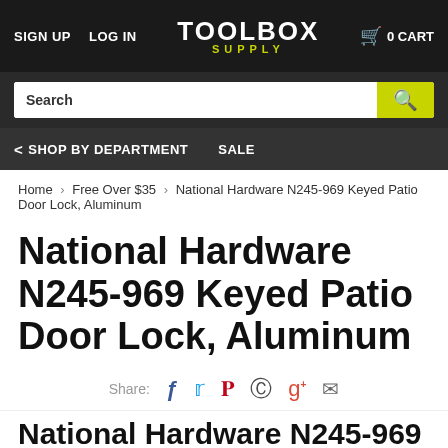SIGN UP  LOG IN  TOOLBOX SUPPLY  0 CART
Search
< SHOP BY DEPARTMENT  SALE
Home › Free Over $35 › National Hardware N245-969 Keyed Patio Door Lock, Aluminum
National Hardware N245-969 Keyed Patio Door Lock, Aluminum
Share:
National Hardware N245-969